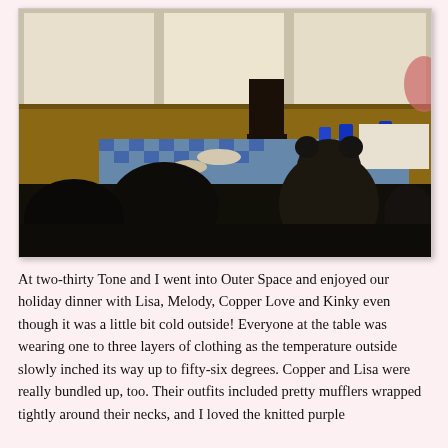[Figure (photo): Indoor photo of a porch or sunroom dining area with a table set with blue checkered tablecloth, blue glasses, dishes, and food. A potted plant is in the foreground left, and what appears to be a large teddy bear or stuffed animal is seated at the table on the right. Wooden paneled walls and large windows letting in bright light are visible in the background.]
At two-thirty Tone and I went into Outer Space and enjoyed our holiday dinner with Lisa, Melody, Copper Love and Kinky even though it was a little bit cold outside! Everyone at the table was wearing one to three layers of clothing as the temperature outside slowly inched its way up to fifty-six degrees. Copper and Lisa were really bundled up, too. Their outfits included pretty mufflers wrapped tightly around their necks, and I loved the knitted purple